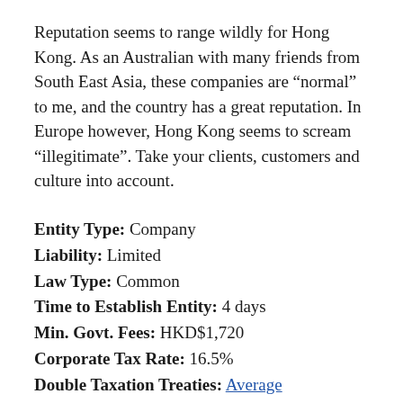Reputation seems to range wildly for Hong Kong. As an Australian with many friends from South East Asia, these companies are "normal" to me, and the country has a great reputation. In Europe however, Hong Kong seems to scream "illegitimate". Take your clients, customers and culture into account.
Entity Type: Company
Liability: Limited
Law Type: Common
Time to Establish Entity: 4 days
Min. Govt. Fees: HKD$1,720
Corporate Tax Rate: 16.5%
Double Taxation Treaties: Average
Min. Shareholders: 1